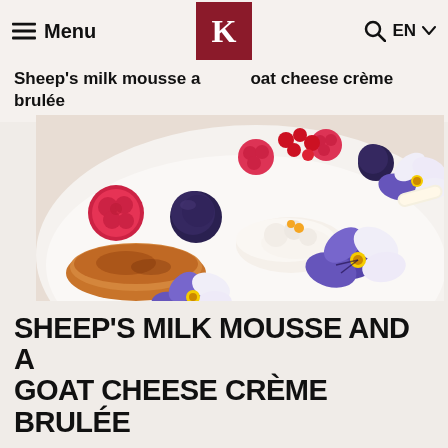Menu  [K logo]  🔍 EN ∨
Sheep's milk mousse and goat cheese crème brulée
[Figure (photo): Close-up food photo of a dessert plate with sheep's milk mousse, goat cheese crème brulée, raspberries, blueberries, red currants, and purple/white pansy flowers on a white plate]
SHEEP'S MILK MOUSSE AND A GOAT CHEESE CRÈME BRULÉE